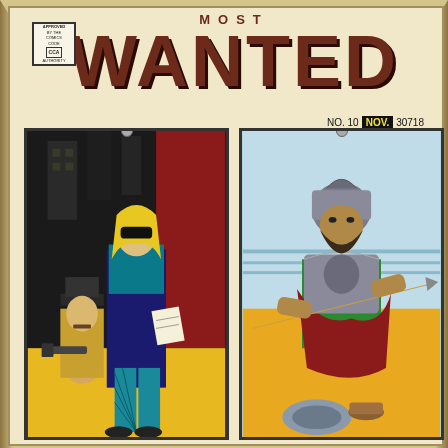WANTED
NO. 10  NOV.  30718
[Figure (illustration): Comic book cover of 'Most Wanted' No. 10, November issue. Left panel: A masked blonde woman in a black outfit with blue fishnet stockings holding papers, with a man in a hat holding a gun seated behind her, against a dark urban background. Right panel: A bearded warrior in ancient Roman/Greek armor and helmet, holding a spear, against a light blue sky and golden/yellow ground background.]